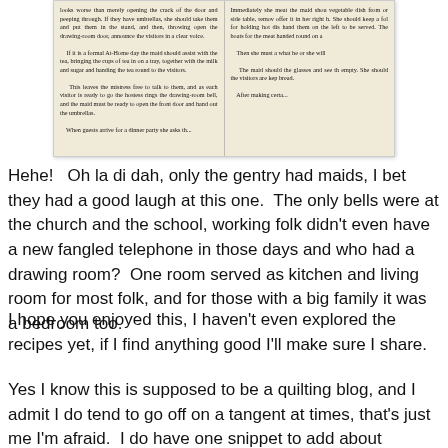[Figure (photo): Scanned image of two columns of old book text about maids, At-Home days, serving tea, and dinner party duties.]
Hehe!   Oh la di dah, only the gentry had maids, I bet they had a good laugh at this one.  The only bells were at the church and the school, working folk didn't even have a new fangled telephone in those days and who had a drawing room?  One room served as kitchen and living room for most folk, and for those with a big family it was a bedroom too.
I hope you enjoyed this, I haven't even explored the recipes yet, if I find anything good I'll make sure I share.
Yes I know this is supposed to be a quilting blog, and I admit I do tend to go off on a tangent at times, that's just me I'm afraid.  I do have one snippet to add about quilting though...